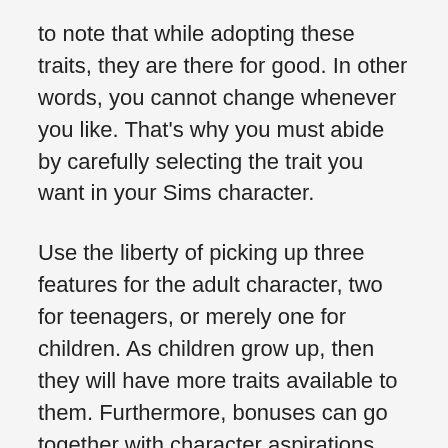to note that while adopting these traits, they are there for good. In other words, you cannot change whenever you like. That's why you must abide by carefully selecting the trait you want in your Sims character.
Use the liberty of picking up three features for the adult character, two for teenagers, or merely one for children. As children grow up, then they will have more traits available to them. Furthermore, bonuses can go together with character aspirations.
Bonus traits are functional for one time that remains for good. Death traits get visible upon Sims character death, indicating one attribute per character.